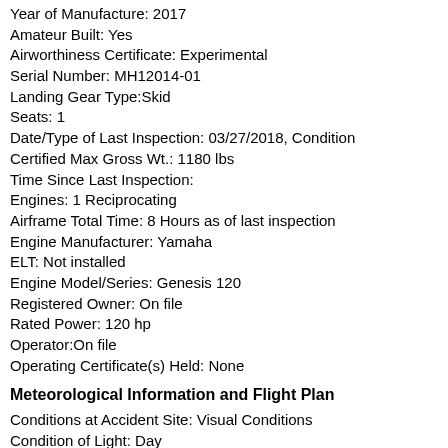Year of Manufacture: 2017
Amateur Built: Yes
Airworthiness Certificate: Experimental
Serial Number: MH12014-01
Landing Gear Type:Skid
Seats: 1
Date/Type of Last Inspection: 03/27/2018, Condition
Certified Max Gross Wt.: 1180 lbs
Time Since Last Inspection:
Engines: 1 Reciprocating
Airframe Total Time: 8 Hours as of last inspection
Engine Manufacturer: Yamaha
ELT: Not installed
Engine Model/Series: Genesis 120
Registered Owner: On file
Rated Power: 120 hp
Operator:On file
Operating Certificate(s) Held: None
Meteorological Information and Flight Plan
Conditions at Accident Site: Visual Conditions
Condition of Light: Day